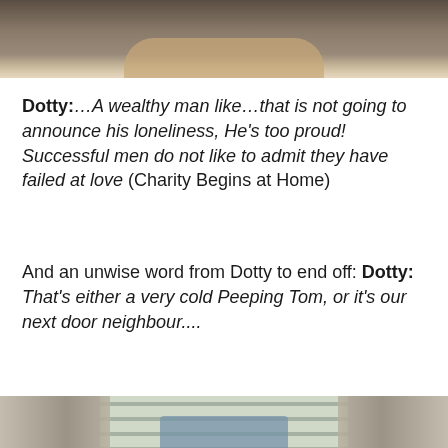[Figure (photo): Top portion of a TV scene showing a person in a grey suit, hands visible on a desk or table, cropped at the top of the page.]
Dotty:…A wealthy man like…that is not going to announce his loneliness, He's too proud! Successful men do not like to admit they have failed at love (Charity Begins at Home)
And an unwise word from Dotty to end off: Dotty: That's either a very cold Peeping Tom, or it's our next door neighbour....
[Figure (photo): Bottom portion showing a figure visible through curtains and window blinds, as if someone is peeping through a window.]